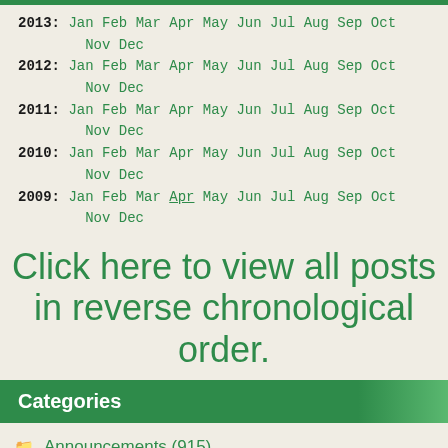2013: Jan Feb Mar Apr May Jun Jul Aug Sep Oct Nov Dec
2012: Jan Feb Mar Apr May Jun Jul Aug Sep Oct Nov Dec
2011: Jan Feb Mar Apr May Jun Jul Aug Sep Oct Nov Dec
2010: Jan Feb Mar Apr May Jun Jul Aug Sep Oct Nov Dec
2009: Jan Feb Mar Apr May Jun Jul Aug Sep Oct Nov Dec
Click here to view all posts in reverse chronological order.
Categories
Announcements (915)
Arts & Culture (2,065)
Business (1,000)